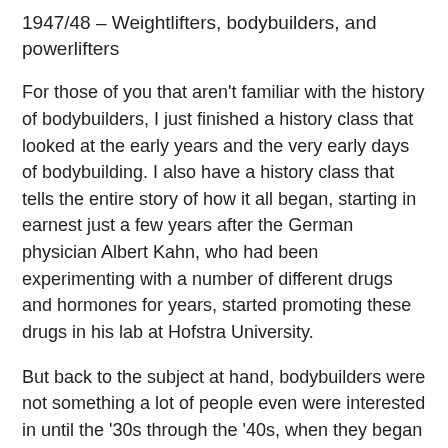1947/48 – Weightlifters, bodybuilders, and powerlifters
For those of you that aren't familiar with the history of bodybuilders, I just finished a history class that looked at the early years and the very early days of bodybuilding. I also have a history class that tells the entire story of how it all began, starting in earnest just a few years after the German physician Albert Kahn, who had been experimenting with a number of different drugs and hormones for years, started promoting these drugs in his lab at Hofstra University.
But back to the subject at hand, bodybuilders were not something a lot of people even were interested in until the '30s through the '40s, when they began appearing in movies (The Wizard of Oz was actually the first ever Arnold, as you may recall). And while